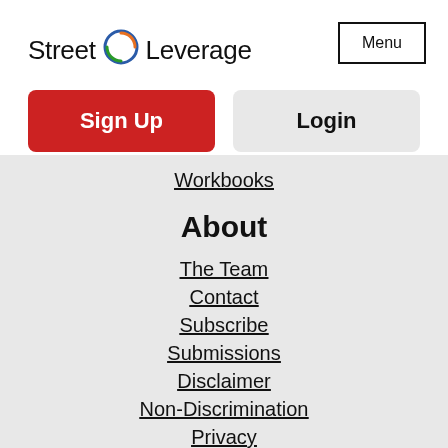[Figure (logo): Street Leverage logo with circular icon]
Menu
Sign Up
Login
Workbooks
About
The Team
Contact
Subscribe
Submissions
Disclaimer
Non-Discrimination
Privacy
Terms
EULA